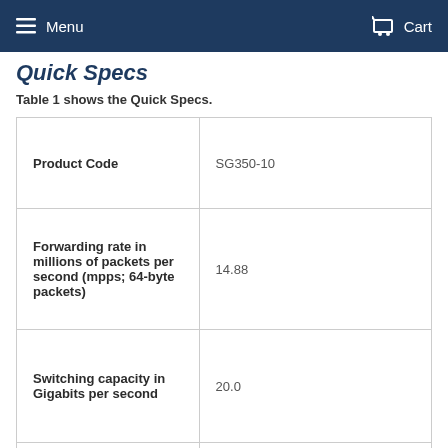Menu   Cart
Quick Specs
Table 1 shows the Quick Specs.
|  |  |
| --- | --- |
| Product Code | SG350-10 |
| Forwarding rate in millions of packets per second (mpps; 64-byte packets) | 14.88 |
| Switching capacity in Gigabits per second | 20.0 |
| Total System Ports | 10 Gigabit Ethernet |